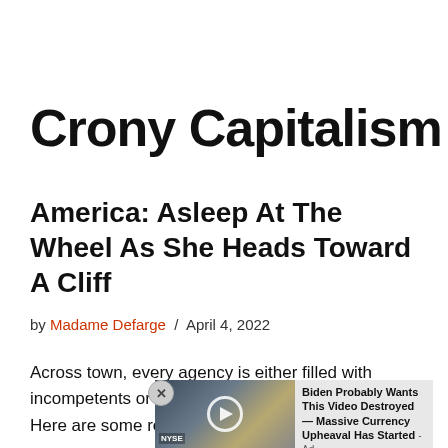Crony Capitalism
America: Asleep At The Wheel As She Heads Toward A Cliff
by Madame Defarge / April 4, 2022
Across town, every agency is either filled with incompetents or they have been coopted for a fee. Here are some recent
[Figure (other): Advertisement overlay showing a video thumbnail of people in a TV studio with NYSE backdrop, and text: Biden Probably Wants This Video Destroyed — Massive Currency Upheaval Has Started - Ad]